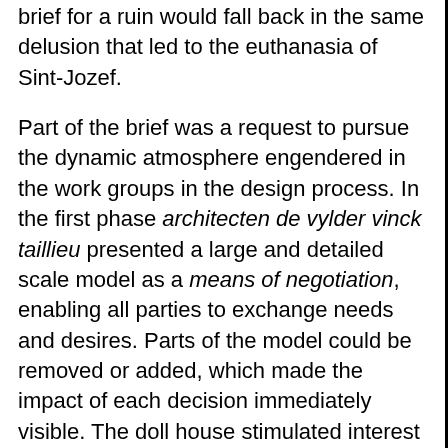brief for a ruin would fall back in the same delusion that led to the euthanasia of Sint-Jozef.
Part of the brief was a request to pursue the dynamic atmosphere engendered in the work groups in the design process. In the first phase architecten de vylder vinck taillieu presented a large and detailed scale model as a means of negotiation, enabling all parties to exchange needs and desires. Parts of the model could be removed or added, which made the impact of each decision immediately visible. The doll house stimulated interest and imagination. Another, more far-reaching adaptation of the participatory method by architecten de vylder vinck taillieu was the proposal to use the final